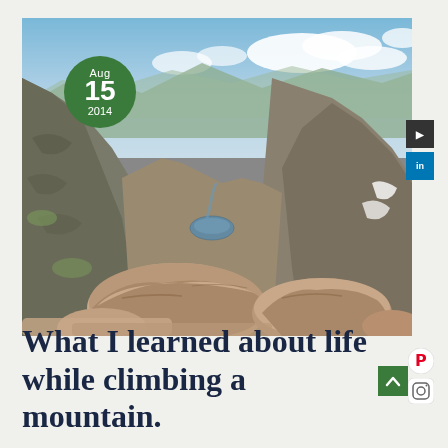[Figure (photo): Aerial view from a mountain summit looking down a rocky valley with a small lake/tarn at the bottom, surrounded by steep rocky slopes and mountains in the background under a blue sky with clouds. In the foreground are large granite boulders. A green circular date badge overlay shows Aug 15 2014.]
What I learned about life while climbing a mountain.